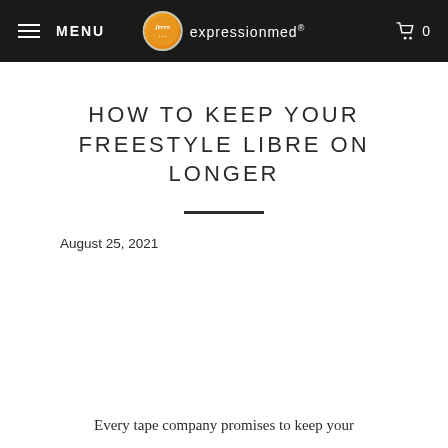MENU | expressionmed®
HOW TO KEEP YOUR FREESTYLE LIBRE ON LONGER
August 25, 2021
Every tape company promises to keep your